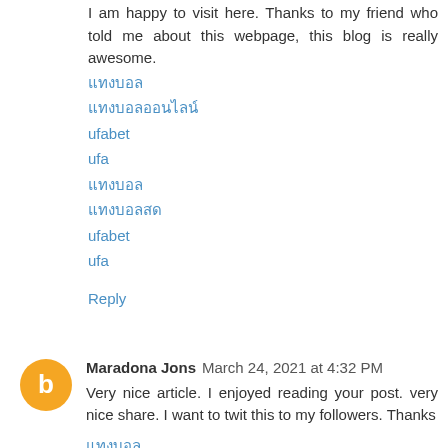I am happy to visit here. Thanks to my friend who told me about this webpage, this blog is really awesome.
แทงบอล
แทงบอลออนไลน์
ufabet
ufa
แทงบอล
แทงบอลสด
ufabet
ufa
Reply
Maradona Jons  March 24, 2021 at 4:32 PM
Very nice article. I enjoyed reading your post. very nice share. I want to twit this to my followers. Thanks
แทงบอล
บาคาร่า seo
wm casino
poker online
สล็อต